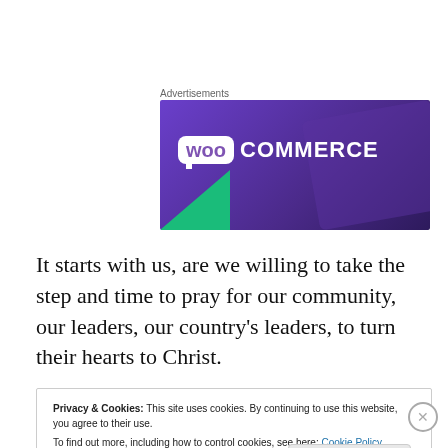Advertisements
[Figure (logo): WooCommerce advertisement banner with purple gradient background, green triangle bottom-left, WOO logo bubble and COMMERCE text in white]
It starts with us, are we willing to take the step and time to pray for our community, our leaders, our country's leaders, to turn their hearts to Christ.
Privacy & Cookies: This site uses cookies. By continuing to use this website, you agree to their use.
To find out more, including how to control cookies, see here: Cookie Policy
Close and accept